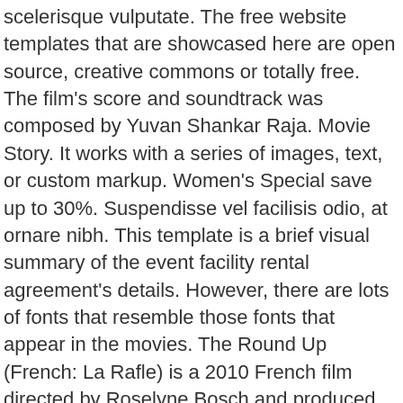scelerisque vulputate. The free website templates that are showcased here are open source, creative commons or totally free. The film's score and soundtrack was composed by Yuvan Shankar Raja. Movie Story. It works with a series of images, text, or custom markup. Women's Special save up to 30%. Suspendisse vel facilisis odio, at ornare nibh. This template is a brief visual summary of the event facility rental agreement's details. However, there are lots of fonts that resemble those fonts that appear in the movies. The Round Up (French: La Rafle) is a 2010 French film directed by Roselyne Bosch and produced by Alain Goldman.The film stars Mélanie Laurent, Jean Reno, Sylvie Testud and Gad Elmaleh.Based on the true story of a young Jewish boy, the film depicts the Vel' d'Hiv Roundup (Rafle du Vel' d'Hiv), the mass arrest of Jews by French police who were accomplices of Nazi Germans in Paris in July 1942. Create My Video Home; Pages; Features; Style; Contact Us; Languages; Popular articles. Browse the demo site example of best Joomla template for startup company. Fusce condimentum nunc ac nisi